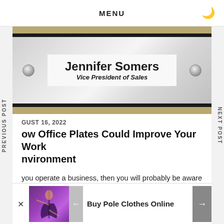MENU
[Figure (photo): Office door nameplate for Jennifer Somers, Vice President of Sales, with metallic screws on a brushed metal and glass holder]
AUGUST 16, 2022
How Office Plates Could Improve Your Work Environment
If you operate a business, then you will probably be aware that creating an efficient work environment is essential. In addition, if you want to...
[Figure (photo): Advertisement: Buy Pole Clothes Online — showing a person doing pole dancing in a purple-lit studio]
PREVIOUS POST
NEXT POST